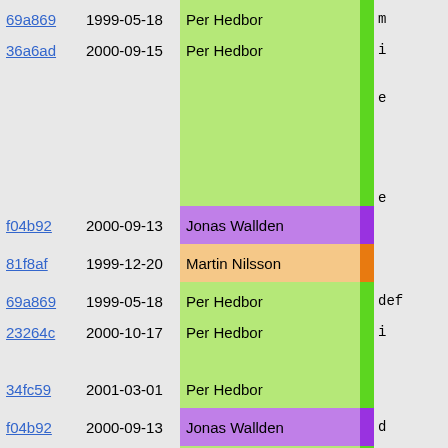| commit | date | author | bar | code |
| --- | --- | --- | --- | --- |
| 69a869 | 1999-05-18 | Per Hedbor |  | m |
| 36a6ad | 2000-09-15 | Per Hedbor |  | i

e



e |
| f04b92 | 2000-09-13 | Jonas Wallden |  |  |
| 81f8af | 1999-12-20 | Martin Nilsson |  |  |
| 69a869 | 1999-05-18 | Per Hedbor |  | def |
| 23264c | 2000-10-17 | Per Hedbor |  | i |
| 34fc59 | 2001-03-01 | Per Hedbor |  |  |
| f04b92 | 2000-09-13 | Jonas Wallden |  | d |
| 69a869 | 1999-05-18 | Per Hedbor |  | } |
| 81f8af | 1999-12-20 | Martin Nilsson |  | meta
([ |
| 69a869 | 1999-05-18 | Per Hedbor |  | "x
"y |